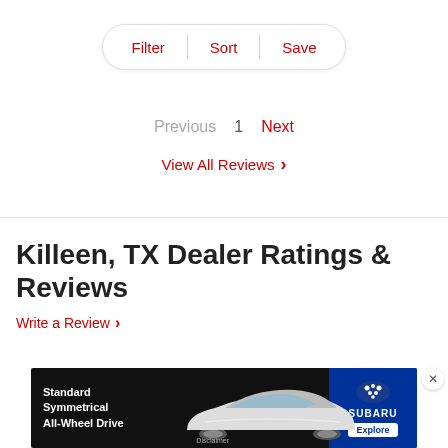Filter | Sort | Save
Previous  1  Next
View All Reviews >
Killeen, TX Dealer Ratings & Reviews
Write a Review >
[Figure (screenshot): Subaru advertisement banner showing a white Subaru sedan with text 'Standard Symmetrical All-Wheel Drive', Subaru logo, and 'Explore' button]